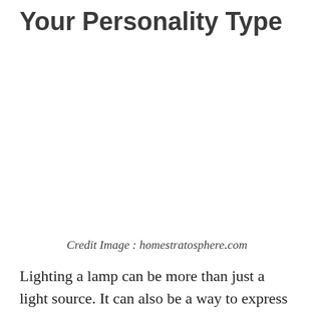Your Personality Type
[Figure (photo): Image placeholder area (white/blank) for a lamp photo]
Credit Image : homestratosphere.com
Lighting a lamp can be more than just a light source. It can also be a way to express your personality and mood.